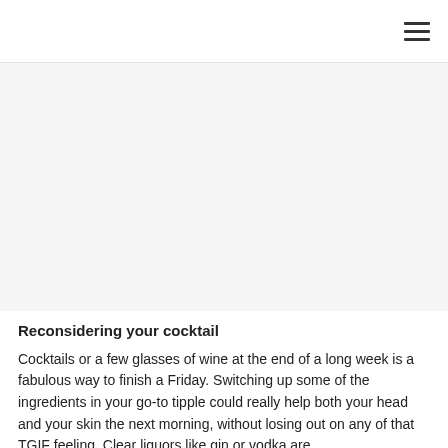[Figure (photo): Large image area (light gray placeholder) occupying the upper-middle portion of the page below the navigation bar]
Reconsidering your cocktail
Cocktails or a few glasses of wine at the end of a long week is a fabulous way to finish a Friday. Switching up some of the ingredients in your go-to tipple could really help both your head and your skin the next morning, without losing out on any of that TGIF feeling. Clear liquors like gin or vodka are